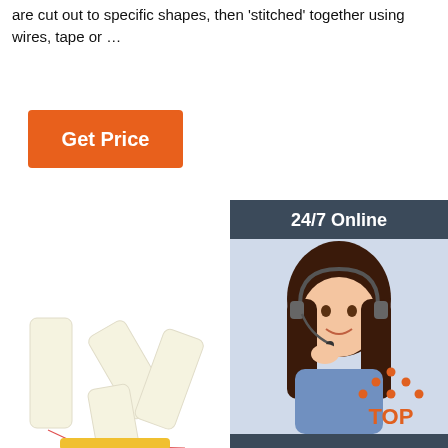are cut out to specific shapes, then 'stitched' together using wires, tape or …
[Figure (other): Orange 'Get Price' button]
[Figure (other): 24/7 Online chat sidebar with photo of customer service agent, 'Click here for free chat!' text, and orange QUOTATION button]
[Figure (photo): Several off-white rectangular foam/rubber pieces arranged on white background]
[Figure (other): Orange and grey 'TOP' icon with dots arranged in chevron pattern above the text]